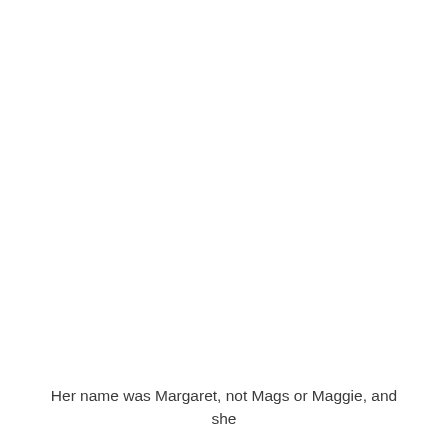Her name was Margaret, not Mags or Maggie, and she